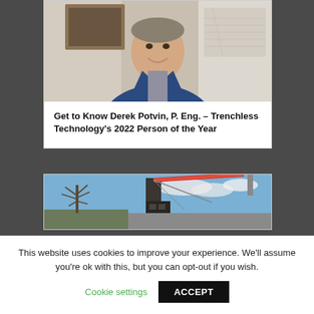[Figure (photo): Professional headshot of Derek Potvin, P. Eng., a smiling man in a blue blazer and checkered shirt, standing in an office with framed artwork and maps on the wall behind him.]
Get to Know Derek Potvin, P. Eng. – Trenchless Technology's 2022 Person of the Year
[Figure (photo): Outdoor construction scene showing a large drilling rig or crane against a blue sky, with bare trees visible on the left side.]
This website uses cookies to improve your experience. We'll assume you're ok with this, but you can opt-out if you wish.